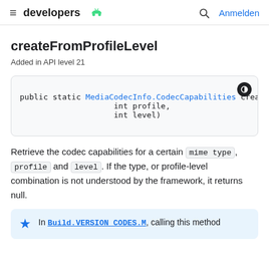≡ developers [android logo] Q Anmelden
createFromProfileLevel
Added in API level 21
[Figure (screenshot): Code block showing: public static MediaCodecInfo.CodecCapabilities creat
                    int profile,
                    int level)]
Retrieve the codec capabilities for a certain mime type, profile and level. If the type, or profile-level combination is not understood by the framework, it returns null.
In Build.VERSION_CODES.M, calling this method